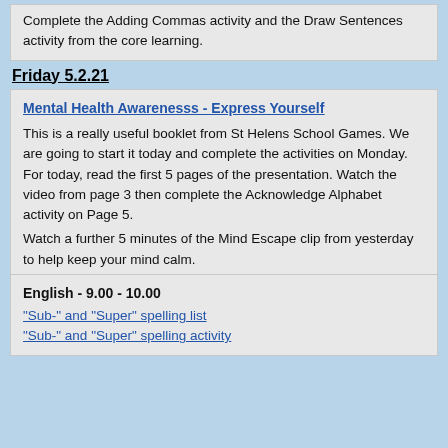Complete the Adding Commas activity and the Draw Sentences activity from the core learning.
Friday 5.2.21
Mental Health Awarenesss - Express Yourself
This is a really useful booklet from St Helens School Games. We are going to start it today and complete the activities on Monday. For today, read the first 5 pages of the presentation. Watch the video from page 3 then complete the Acknowledge Alphabet activity on Page 5.
Watch a further 5 minutes of the Mind Escape clip from yesterday to help keep your mind calm.
English - 9.00 - 10.00
"Sub-" and "Super" spelling list
"Sub-" and "Super" spelling activity